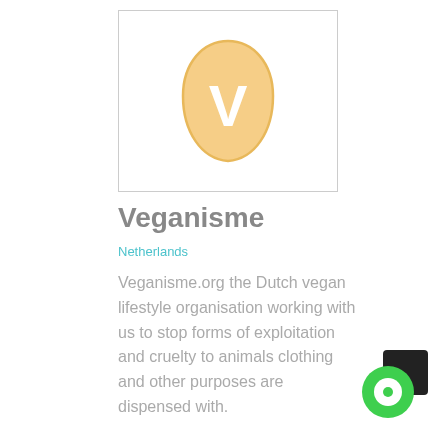[Figure (logo): Veganisme logo: a rounded sandy-orange teardrop shape containing a white letter V]
Veganisme
Netherlands
Veganisme.org the Dutch vegan lifestyle organisation working with us to stop forms of exploitation and cruelty to animals clothing and other purposes are dispensed with.
[Figure (illustration): Green circular chat/messaging widget icon in the bottom right corner]